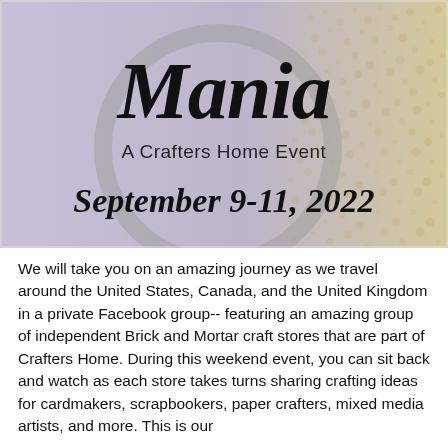[Figure (illustration): Event banner for 'Mania – A Crafters Home Event, September 9-11, 2022'. Features a lavender/purple background with golden dot pattern on the right side, a large gray circle/letter 'b' watermark, and stylized black script text reading 'Mania' with subtitle 'A Crafters Home Event' and date 'September 9-11, 2022' in script font.]
We will take you on an amazing journey as we travel around the United States, Canada, and the United Kingdom in a private Facebook group-- featuring an amazing group of independent Brick and Mortar craft stores that are part of Crafters Home. During this weekend event, you can sit back and watch as each store takes turns sharing crafting ideas for cardmakers, scrapbookers, paper crafters, mixed media artists, and more. This is our